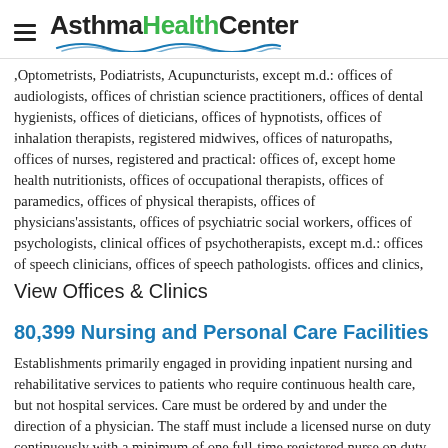AsthmaHealthCenter
,Optometrists, Podiatrists, Acupuncturists, except m.d.: offices of audiologists, offices of christian science practitioners, offices of dental hygienists, offices of dieticians, offices of hypnotists, offices of inhalation therapists, registered midwives, offices of naturopaths, offices of nurses, registered and practical: offices of, except home health nutritionists, offices of occupational therapists, offices of paramedics, offices of physical therapists, offices of physicians'assistants, offices of psychiatric social workers, offices of psychologists, clinical offices of psychotherapists, except m.d.: offices of speech clinicians, offices of speech pathologists. offices and clinics,
View Offices & Clinics
80,399 Nursing and Personal Care Facilities
Establishments primarily engaged in providing inpatient nursing and rehabilitative services to patients who require continuous health care, but not hospital services. Care must be ordered by and under the direction of a physician. The staff must include a licensed nurse on duty continuously with a minimum of one full-time registered nurse on duty during each day shift. Included are